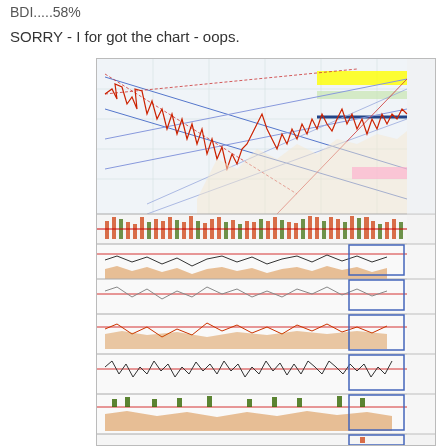BDI.....58%
SORRY - I for got the chart - oops.
[Figure (continuous-plot): Multi-panel technical analysis chart showing price chart with trend lines, support/resistance levels, candlestick price data, volume bars, and multiple indicator panels below including what appears to be momentum, oscillator, and other technical indicators. Several blue rectangle annotations highlight recent data points on the right side of each indicator panel. The main price panel shows a large decline followed by recovery, with yellow highlighted resistance zones and a blue horizontal line. Lower panels show various oscillator and volume-based indicators with orange and green coloring.]